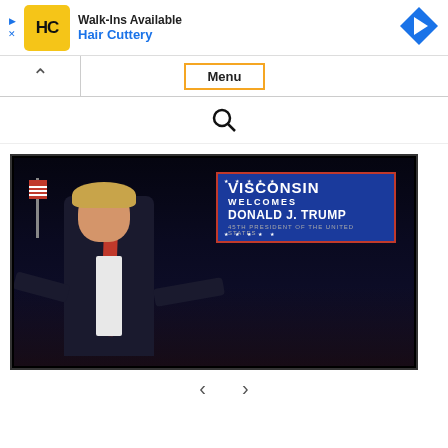[Figure (other): Hair Cuttery advertisement banner with logo, headline 'Walk-Ins Available', subtext 'Hair Cuttery', and a blue navigation arrow icon on the right. Small play and close icons on left.]
Menu
[Figure (other): Search magnifying glass icon centered on white background]
[Figure (photo): Donald Trump at a Wisconsin campaign rally, gesturing with arms outstretched. Background shows a blue sign reading 'Wisconsin Welcomes Donald J. Trump' and a crowd of supporters waving American flags.]
[Figure (other): Two navigation arrow icons (left and right) for scrolling through photos]